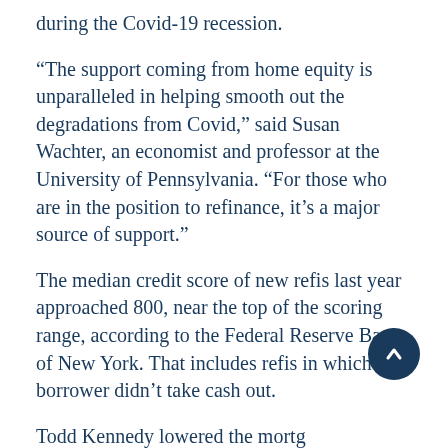during the Covid-19 recession.
“The support coming from home equity is unparalleled in helping smooth out the degradations from Covid,” said Susan Wachter, an economist and professor at the University of Pennsylvania. “For those who are in the position to refinance, it’s a major source of support.”
The median credit score of new refis last year approached 800, near the top of the scoring range, according to the Federal Reserve Bank of New York. That includes refis in which the borrower didn’t take cash out.
Todd Kennedy lowered the mortgage interest rate on his North Te...